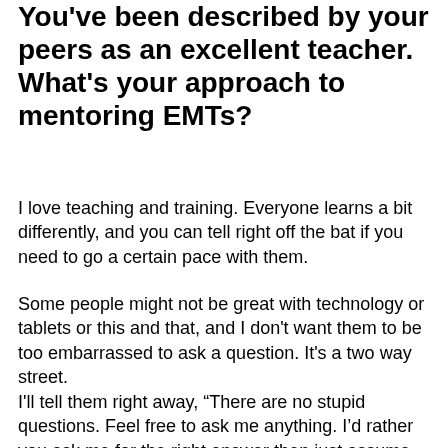You've been described by your peers as an excellent teacher. What's your approach to mentoring EMTs?
I love teaching and training. Everyone learns a bit differently, and you can tell right off the bat if you need to go a certain pace with them.
Some people might not be great with technology or tablets or this and that, and I don't want them to be too embarrassed to ask a question. It's a two way street.
I'll tell them right away, “There are no stupid questions. Feel free to ask me anything. I’d rather you ask me for the right answer then just assume something.”